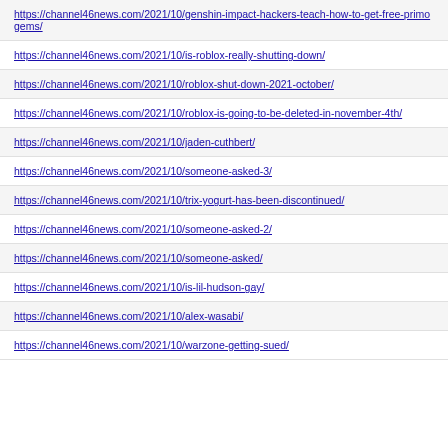https://channel46news.com/2021/10/genshin-impact-hackers-teach-how-to-get-free-primogems/
https://channel46news.com/2021/10/is-roblox-really-shutting-down/
https://channel46news.com/2021/10/roblox-shut-down-2021-october/
https://channel46news.com/2021/10/roblox-is-going-to-be-deleted-in-november-4th/
https://channel46news.com/2021/10/jaden-cuthbert/
https://channel46news.com/2021/10/someone-asked-3/
https://channel46news.com/2021/10/trix-yogurt-has-been-discontinued/
https://channel46news.com/2021/10/someone-asked-2/
https://channel46news.com/2021/10/someone-asked/
https://channel46news.com/2021/10/is-lil-hudson-gay/
https://channel46news.com/2021/10/alex-wasabi/
https://channel46news.com/2021/10/warzone-getting-sued/